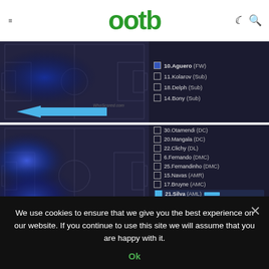ootb
[Figure (screenshot): Top heatmap screenshot from WhoScored.com showing a football pitch heatmap (dark blue tones) with a blue arrow pointing left, and a player legend on the right listing: 10.Aguero (FW), 11.Kolarov (Sub), 18.Delph (Sub), 14.Bony (Sub)]
[Figure (screenshot): Bottom heatmap screenshot from WhoScored.com showing a football pitch heatmap with heat concentrated on left side, a blue arrow pointing left, and player legend on right: 3.Sagna (DR), 30.Otamendi (DC), 20.Mangala (DC), 22.Clichy (DL), 6.Fernando (DMC), 25.Fernandinho (DMC), 15.Navas (AMR), 17.Bruyne (AMC), 21.Silva (AML) [checked/highlighted with blue bar], 10.Aguero (FW), 11.Kolarov (Sub), 18.Delph (Sub), 14.Bony (Sub)]
We use cookies to ensure that we give you the best experience on our website. If you continue to use this site we will assume that you are happy with it.
Ok